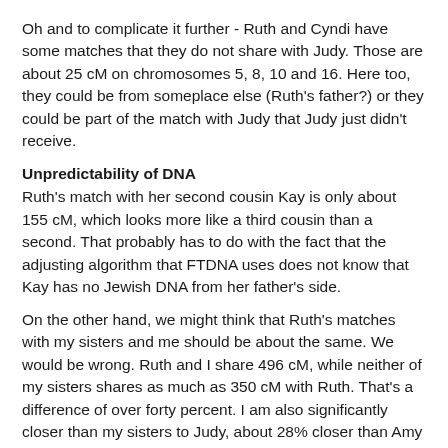Oh and to complicate it further - Ruth and Cyndi have some matches that they do not share with Judy. Those are about 25 cM on chromosomes 5, 8, 10 and 16. Here too, they could be from someplace else (Ruth's father?) or they could be part of the match with Judy that Judy just didn't receive.
Unpredictability of DNA
Ruth's match with her second cousin Kay is only about 155 cM, which looks more like a third cousin than a second. That probably has to do with the fact that the adjusting algorithm that FTDNA uses does not know that Kay has no Jewish DNA from her father's side.
On the other hand, we might think that Ruth's matches with my sisters and me should be about the same. We would be wrong. Ruth and I share 496 cM, while neither of my sisters shares as much as 350 cM with Ruth. That's a difference of over forty percent. I am also significantly closer than my sisters to Judy, about 28% closer than Amy but over 50% closer than Sarajoy. I seem to be very much a Gordon!